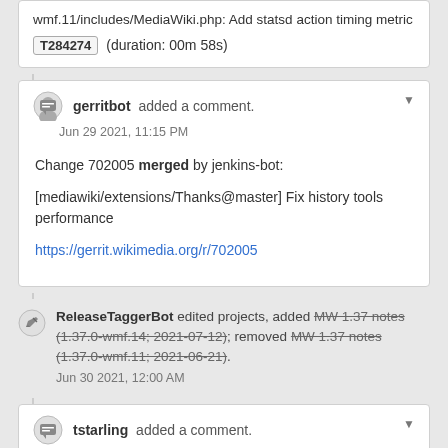wmf.11/includes/MediaWiki.php: Add statsd action timing metric T284274 (duration: 00m 58s)
gerritbot added a comment. Jun 29 2021, 11:15 PM
Change 702005 merged by jenkins-bot:

[mediawiki/extensions/Thanks@master] Fix history tools performance

https://gerrit.wikimedia.org/r/702005
ReleaseTaggerBot edited projects, added MW 1.37 notes (1.37.0-wmf.14; 2021-07-12); removed MW 1.37 notes (1.37.0-wmf.11; 2021-06-21). Jun 30 2021, 12:00 AM
tstarling added a comment. Jun 30 2021, 7:00 AM